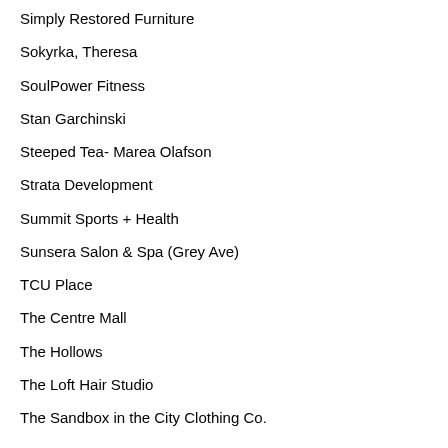Simply Restored Furniture
Sokyrka, Theresa
SoulPower Fitness
Stan Garchinski
Steeped Tea- Marea Olafson
Strata Development
Summit Sports + Health
Sunsera Salon & Spa (Grey Ave)
TCU Place
The Centre Mall
The Hollows
The Loft Hair Studio
The Sandbox in the City Clothing Co.